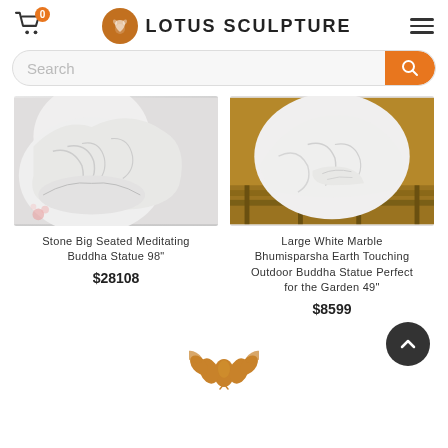Lotus Sculpture - cart: 0
[Figure (photo): Stone Big Seated Meditating Buddha Statue 98 inches - white stone statue close-up]
Stone Big Seated Meditating Buddha Statue 98"
$28108
[Figure (photo): Large White Marble Bhumisparsha Earth Touching Outdoor Buddha Statue Perfect for the Garden 49 inches]
Large White Marble Bhumisparsha Earth Touching Outdoor Buddha Statue Perfect for the Garden 49"
$8599
[Figure (logo): Lotus flower icon in golden/brown color used as footer logo]